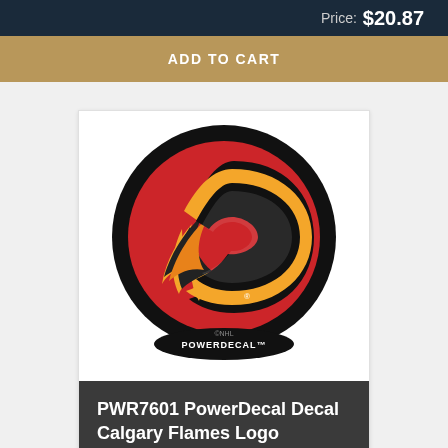Price: $20.87
ADD TO CART
[Figure (photo): Calgary Flames NHL PowerDecal circular logo decal product image. Black circle border with red background, featuring the Flames 'C with flame' logo in black, gold/yellow, and white. Bottom reads 'POWERDECAL' and '©NHL'.]
PWR7601 PowerDecal Decal Calgary Flames Logo